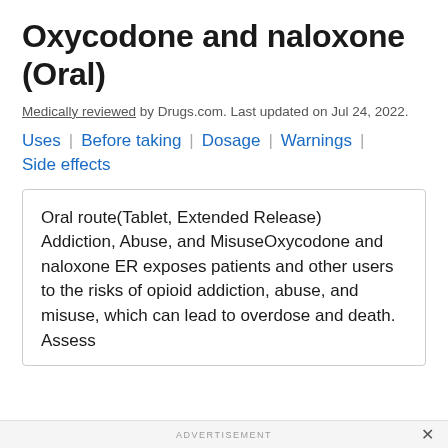Oxycodone and naloxone (Oral)
Medically reviewed by Drugs.com. Last updated on Jul 24, 2022.
Uses | Before taking | Dosage | Warnings |
Side effects
Oral route(Tablet, Extended Release) Addiction, Abuse, and MisuseOxycodone and naloxone ER exposes patients and other users to the risks of opioid addiction, abuse, and misuse, which can lead to overdose and death. Assess
ADVERTISEMENT